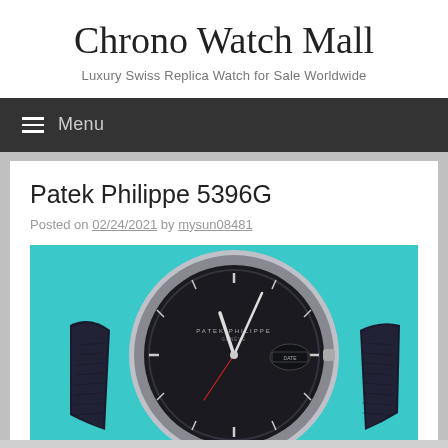Chrono Watch Mall
Luxury Swiss Replica Watch for Sale Worldwide
Menu
Patek Philippe 5396G
Posted on 02/24/2021 by mysun08481
[Figure (photo): Close-up photo of a Patek Philippe 5396G luxury watch with dark dial and leather strap on a teal/cyan background]